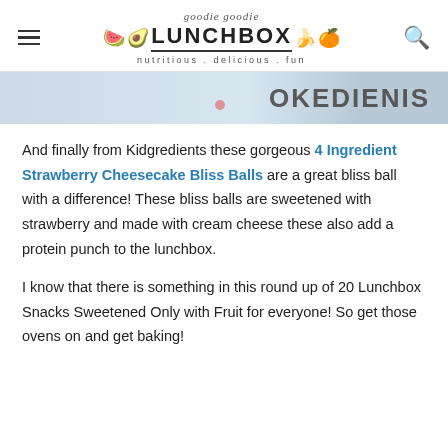goodie goodie LUNCHBOX nutritious.delicious.fun
[Figure (photo): Partial cropped image showing the word OKEDIENIS (KIDGREDIENTS) in bold dark text on a light blue/grey background, with a small red/pink dot visible in the center.]
And finally from Kidgredients these gorgeous 4 Ingredient Strawberry Cheesecake Bliss Balls are a great bliss ball with a difference! These bliss balls are sweetened with strawberry and made with cream cheese these also add a protein punch to the lunchbox.
I know that there is something in this round up of 20 Lunchbox Snacks Sweetened Only with Fruit for everyone! So get those ovens on and get baking!